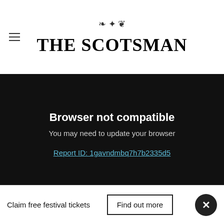THE SCOTSMAN
[Figure (screenshot): Browser not compatible banner overlay on The Scotsman website. Title: 'Browser not compatible'. Subtitle: 'You may need to update your browser'. Link: 'Report ID: 1gavndmbq7h7b2335d5']
attach stolen plates to other vehicles to disguise them and avoid detection.
This can lead to the owner of the original plates being hit with fines if their registration is then linked to a criminal offence.
Claim free festival tickets   Find out more